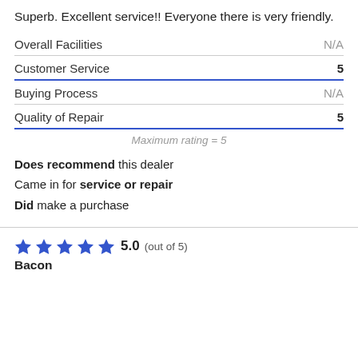Superb. Excellent service!! Everyone there is very friendly.
| Category | Rating |
| --- | --- |
| Overall Facilities | N/A |
| Customer Service | 5 |
| Buying Process | N/A |
| Quality of Repair | 5 |
Maximum rating = 5
Does recommend this dealer
Came in for service or repair
Did make a purchase
5.0 (out of 5)
Bacon